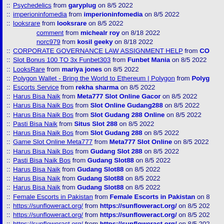:: Psychedelics from garyplug on 8/5 2022
:: imperioninfomedia from imperioninfomedia on 8/5 2022
:: looksrare from looksrare on 8/5 2022
comment from michealr roy on 8/18 2022
norc979 from kosil geeky on 8/18 2022
:: CORPORATE GOVERNANCE LAW ASSIGNMENT HELP from CO
:: Slot Bonus 100 TO 3x Funbet303 from Funbet Mania on 8/5 2022
:: LooksRare from mariya jones on 8/5 2022
:: Polygon Wallet - Bring the World to Ethereum | Polygon from Polyg
:: Escorts Service from rekha sharma on 8/5 2022
:: Harus Bisa Naik from Meta777 Slot Online Gacor on 8/5 2022
:: Harus Bisa Naik Bos from Slot Online Gudang288 on 8/5 2022
:: Harus Bisa Naik Bos from Slot Gudang 288 Online on 8/5 2022
:: Pasti Bisa Naik from Situs Slot 288 on 8/5 2022
:: Harus Bisa Naik Bos from Slot Gudang 288 on 8/5 2022
:: Game Slot Online Meta777 from Meta777 Slot Online on 8/5 2022
:: Harus Bisa Naik Bos from Gudang Slot 288 on 8/5 2022
:: Pasti Bisa Naik Bos from Gudang Slot88 on 8/5 2022
:: Harus Bisa Naik from Gudang Slot88 on 8/5 2022
:: Harus Bisa Naik from Gudang Slot88 on 8/5 2022
:: Harus Bisa Naik from Gudang Slot88 on 8/5 2022
:: Female Escorts in Pakistan from Female Escorts in Pakistan on 8
:: https://sunfloweract.org/ from https://sunfloweract.org/ on 8/5 202
:: https://sunfloweract.org/ from https://sunfloweract.org/ on 8/5 202
:: https://sunfloweract.org/ from https://sunfloweract.org/ on 8/5 202
:: Game Slot Online Meta777 from Meta777 Slot Online on 8/5 2022
:: Harus Bisa Naik from Gudang Slot88 on 8/5 2022
:: Pasti Bisa Naik from Gudang Slot88 on 8/5 2022
:: Pasti Bisa Naik from Gudang288 on 8/5 2022
:: Massage spa chennai from Vinbody spa on 8/5 2022